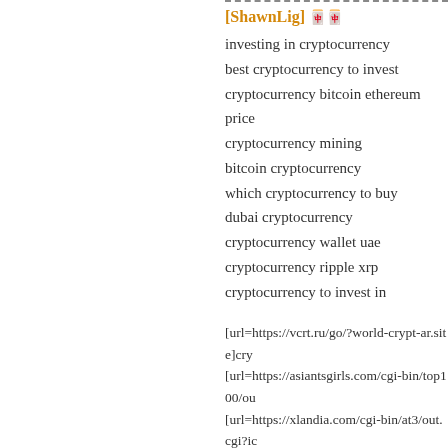[ShawnLig] 🀄🀄
investing in cryptocurrency
best cryptocurrency to invest
cryptocurrency bitcoin ethereum price
cryptocurrency mining
bitcoin cryptocurrency
which cryptocurrency to buy
dubai cryptocurrency
cryptocurrency wallet uae
cryptocurrency ripple xrp
cryptocurrency to invest in
[url=https://vcrt.ru/go/?world-crypt-ar.site]cry
[url=https://asiantsgirls.com/cgi-bin/top100/ou
[url=https://xlandia.com/cgi-bin/at3/out.cgi?ic
[url=https://uniline.co.nz/Document/Url/?url=
[url=http://antenna.wakshin.com/wp-content/t
ar.site]cryptocurrency[/url]
[url=https://rusimm.com/redirect?url=https://v
[url=http://www.messyfun.com/verify.php?ov
[url=http://google.kg/url?q=https://world-cryp
[url=http://google.com.bo/url?q=https://world
[url=https://www.liveyourpassion.in/redirect.a
ar.site]cryptocurrency[/url]
[url=https://etarp.com/cart/view.php?returnUR
[url=https://khazin.ru/redirect?url=https://wor